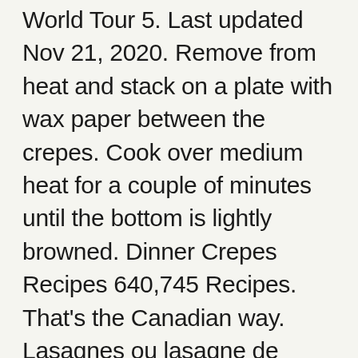World Tour 5. Last updated Nov 21, 2020. Remove from heat and stack on a plate with wax paper between the crepes. Cook over medium heat for a couple of minutes until the bottom is lightly browned. Dinner Crepes Recipes 640,745 Recipes. That's the Canadian way. Lasagnes ou lasagne de crêpes ricotta et épinards. Add chicken and cook, stirring for 5 minutes or until heated through. Before meeting my husband's family, I would never have thought to use crepes for dinner. The crepes my mother made were always topped with maple syrup. This basic crepe recipe can be used for all your dinner entree crepes. Packed